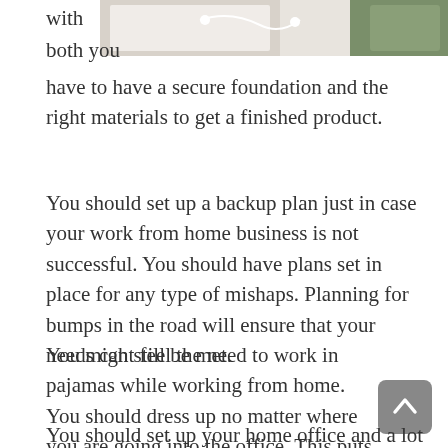[Figure (photo): Top portion of a photo showing a desk/workspace with notebook, earphones, and green object]
with
both you
have to have a secure foundation and the right materials to get a finished product.
You should set up a backup plan just in case your work from home business is not successful. You should have plans set in place for any type of mishaps. Planning for bumps in the road will ensure that your needs can still be met.
You might feel the need to work in pajamas while working from home. You should dress up no matter where you are going into the office. This puts you in the proper mindset to produce as much as possible.
You should set up your home office and a lot of supplies